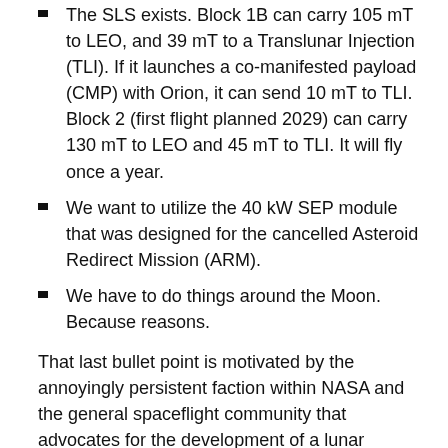The SLS exists. Block 1B can carry 105 mT to LEO, and 39 mT to a Translunar Injection (TLI). If it launches a co-manifested payload (CMP) with Orion, it can send 10 mT to TLI. Block 2 (first flight planned 2029) can carry 130 mT to LEO and 45 mT to TLI. It will fly once a year.
We want to utilize the 40 kW SEP module that was designed for the cancelled Asteroid Redirect Mission (ARM).
We have to do things around the Moon. Because reasons.
That last bullet point is motivated by the annoyingly persistent faction within NASA and the general spaceflight community that advocates for the development of a lunar infrastructure. I could write a whole other blog post on why